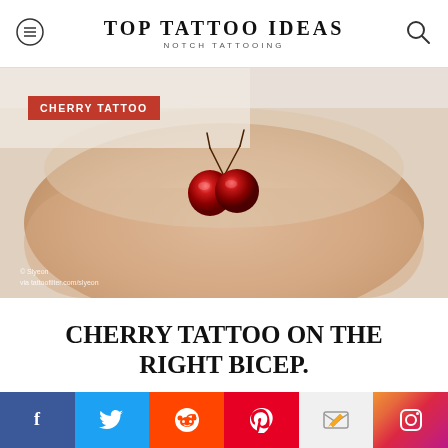TOP TATTOO IDEAS — NOTCH TATTOOING
[Figure (photo): Close-up photo of a wrist/bicep with a realistic cherry tattoo showing two red cherries with stems. The image has a 'CHERRY TATTOO' red label overlay in the top left, and a photo credit at the bottom left reading '© Slyeon / via tattoofilter.com/slyeon'.]
CHERRY TATTOO ON THE RIGHT BICEP.
Facebook | Twitter | Reddit | Pinterest | Email | Instagram